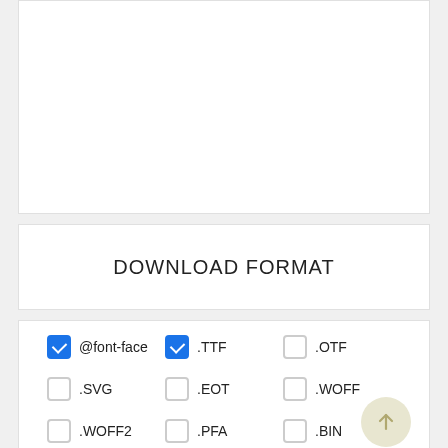[Figure (screenshot): White empty panel area at top of the page]
DOWNLOAD FORMAT
@font-face (checked)
.TTF (checked)
.OTF (unchecked)
.SVG (unchecked)
.EOT (unchecked)
.WOFF (unchecked)
.WOFF2 (unchecked)
.PFA (unchecked)
.BIN (unchecked)
.PT3 (unchecked)
.PS (unchecked)
.CFF (unchecked)